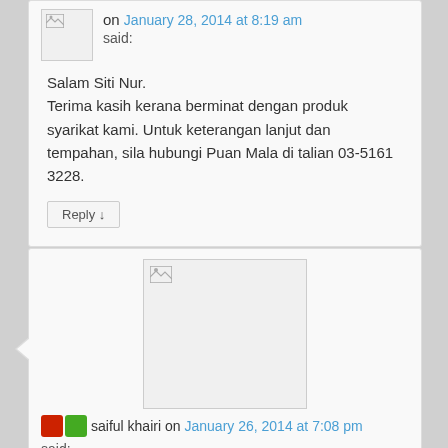on January 28, 2014 at 8:19 am
said:
Salam Siti Nur.
Terima kasih kerana berminat dengan produk syarikat kami. Untuk keterangan lanjut dan tempahan, sila hubungi Puan Mala di talian 03-5161 3228.
Reply ↓
[Figure (photo): User avatar image for saiful khairi]
saiful khairi on January 26, 2014 at 7:08 pm
said:
salam.